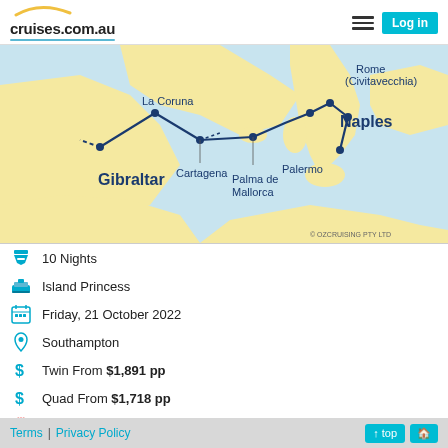cruises.com.au | Log in
[Figure (map): Cruise route map showing stops at Gibraltar, La Coruna, Cartagena, Palma de Mallorca, Palermo, Rome (Civitavecchia), and Naples, connected by a blue route line over a Mediterranean map with yellow land and light blue sea.]
10 Nights
Island Princess
Friday, 21 October 2022
Southampton
Twin From $1,891 pp
Quad From $1,718 pp
Discounted Cruise Fares
Terms | Privacy Policy    ↑ top  🏠